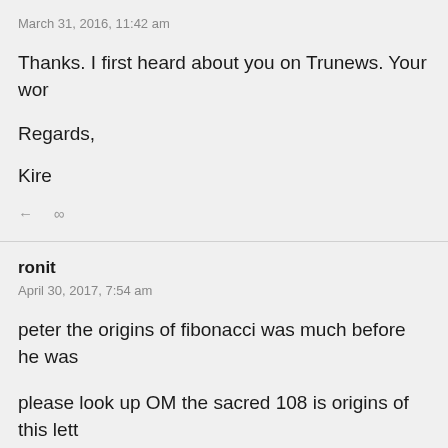March 31, 2016, 11:42 am
Thanks. I first heard about you on Trunews. Your wor
Regards,
Kire
← ∞
ronit
April 30, 2017, 7:54 am
peter the origins of fibonacci was much before he was
please look up OM the sacred 108 is origins of this lett